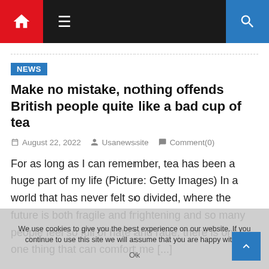Navigation bar with home icon, hamburger menu, and search icon
NEWS
Make no mistake, nothing offends British people quite like a bad cup of tea
August 22, 2022   Usanewssite   Comment(0)
For as long as I can remember, tea has been a huge part of my life (Picture: Getty Images) In a world that has never felt so divided, where the future is both fragile and frightening and so many people feel so full of hate and rage, there is only one thing that can comfort me [...]
We use cookies to give you the best experience on our website. If you continue to use this site we will assume that you are happy with it. Ok